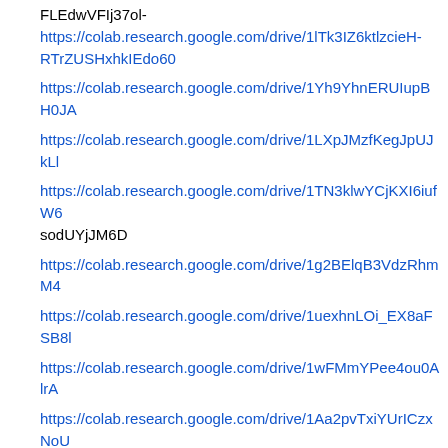FLEdwVFIj37ol-https://colab.research.google.com/drive/1lTk3IZ6ktlzcieH-RTrZUSHxhkIEdo60
https://colab.research.google.com/drive/1Yh9YhnERUIupBH0JA
https://colab.research.google.com/drive/1LXpJMzfKegJpUJkLl
https://colab.research.google.com/drive/1TN3klwYCjKXI6iufW6sodUYjJM6D
https://colab.research.google.com/drive/1g2BElqB3VdzRhmM4
https://colab.research.google.com/drive/1uexhnLOi_EX8aFSB8l
https://colab.research.google.com/drive/1wFMmYPee4ou0AlrA
https://colab.research.google.com/drive/1Aa2pvTxiYUrICzxNoU7HR23dYi
https://colab.research.google.com/drive/1DRNSqs9W9NUhw8mZD3
https://colab.research.google.com/drive/1ZIIgv3Mh2jcQNfqzCAlu4sStwS
https://colab.research.google.com/drive/1J9pEn0HLAraViCHGUwVmpzRmcN7Hyg
https://colab.research.google.com/drive/...